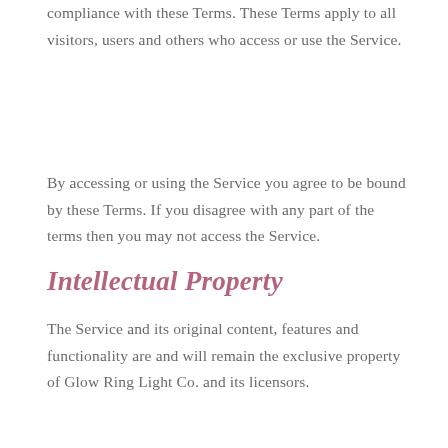compliance with these Terms. These Terms apply to all visitors, users and others who access or use the Service.
By accessing or using the Service you agree to be bound by these Terms. If you disagree with any part of the terms then you may not access the Service.
Intellectual Property
The Service and its original content, features and functionality are and will remain the exclusive property of Glow Ring Light Co. and its licensors.